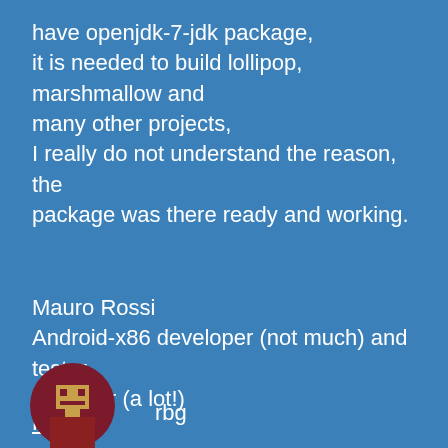have openjdk-7-jdk package, it is needed to build lollipop, marshmallow and many other projects, I really do not understand the reason, the package was there ready and working.
Mauro Rossi
Android-x86 developer (not much) and tester, bug fixer (a lot!)
Reply
[Figure (illustration): Circular avatar icon with dark red/maroon background and a stylized pixel-art character in gold/tan colors]
rbg